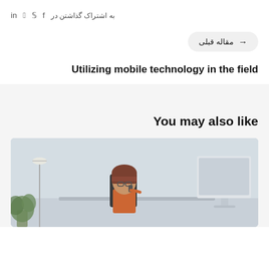به اشتراک گذاشتن در  f  twitter  p  in
→ مقاله قبلی
Utilizing mobile technology in the field
You may also like
[Figure (photo): Woman sitting at a desk talking on phone, with a monitor, plant, and lamp visible in the background]